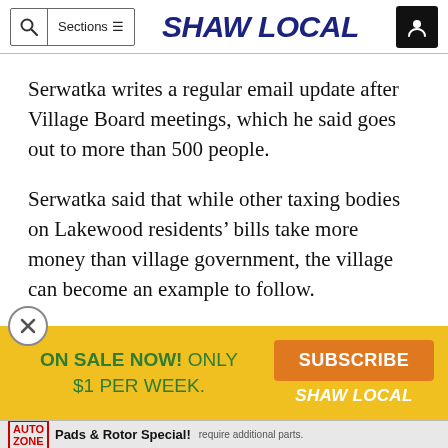SHAW LOCAL
Serwatka writes a regular email update after Village Board meetings, which he said goes out to more than 500 people.
Serwatka said that while other taxing bodies on Lakewood residents' bills take more money than village government, the village can become an example to follow.
“I want to be the benchmark of excellence and not just, ‘We’re trying to
[Figure (screenshot): Promotional ad overlay: ON SALE NOW! ONLY $1 PER WEEK. SUBSCRIBE SHAW LOCAL button. Yellow background with orange subscribe button.]
[Figure (screenshot): Bottom banner advertisement for AutoZone Pads & Rotor Special]